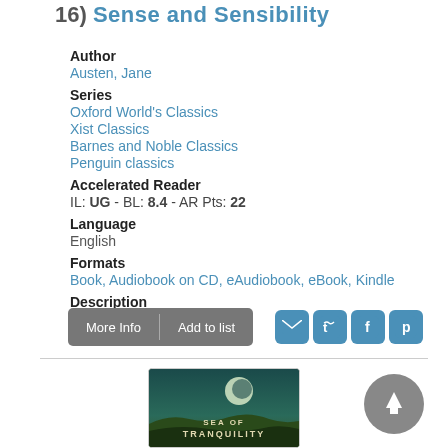16) Sense and Sensibility
Author
Austen, Jane
Series
Oxford World's Classics
Xist Classics
Barnes and Noble Classics
Penguin classics
Accelerated Reader
IL: UG - BL: 8.4 - AR Pts: 22
Language
English
Formats
Book, Audiobook on CD, eAudiobook, eBook, Kindle
Description
Read Description
[Figure (screenshot): More Info and Add to list buttons with social share icons (email, Twitter, Facebook, Pinterest)]
[Figure (photo): Book cover for Sea of Tranquility with teal landscape and moon]
[Figure (illustration): Grey circular scroll-to-top button with upward arrow]